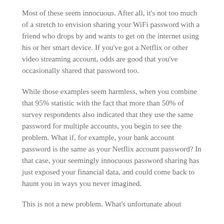Most of these seem innocuous. After all, it's not too much of a stretch to envision sharing your WiFi password with a friend who drops by and wants to get on the internet using his or her smart device. If you've got a Netflix or other video streaming account, odds are good that you've occasionally shared that password too.
While those examples seem harmless, when you combine that 95% statistic with the fact that more than 50% of survey respondents also indicated that they use the same password for multiple accounts, you begin to see the problem. What if, for example, your bank account password is the same as your Netflix account password? In that case, your seemingly innocuous password sharing has just exposed your financial data, and could come back to haunt you in ways you never imagined.
This is not a new problem. What's unfortunate about